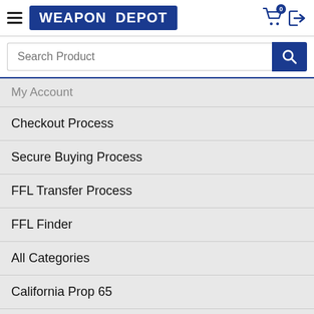WEAPON DEPOT
Search Product
My Account
Checkout Process
Secure Buying Process
FFL Transfer Process
FFL Finder
All Categories
California Prop 65
SUPPORT
Contact Us
Messaging Center
Badges & Icons